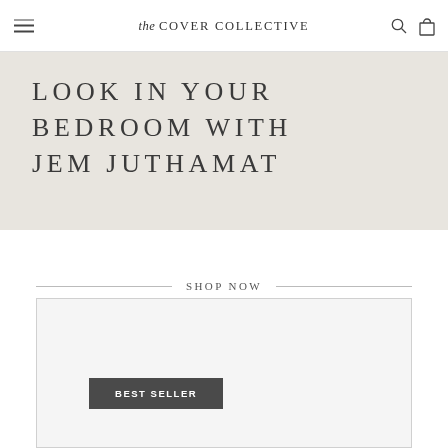the COVER COLLECTIVE
LOOK IN YOUR BEDROOM WITH JEM JUTHAMAT
SHOP NOW
BEST SELLER